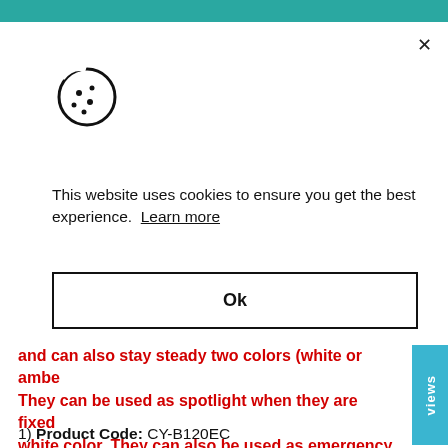[Figure (illustration): Cookie/biscuit icon outline with dots — cookie consent modal icon]
This website uses cookies to ensure you get the best experience. Learn more
Ok
and can also stay steady two colors (white or ambe... They can be used as spotlight when they are fixed white color. They can also be used as emergency light when they strobe.
Description:
1) Product Code: CY-B120EC